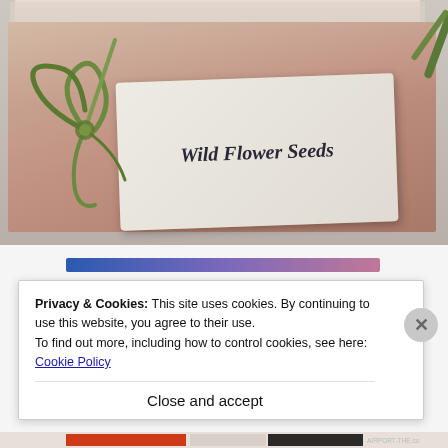[Figure (photo): A kraft paper envelope with a small white card labeled 'Wild Flower Seeds' in cursive script, tied with a green grass ribbon, resting on a light surface with other papers visible behind it.]
Privacy & Cookies: This site uses cookies. By continuing to use this website, you agree to their use.
To find out more, including how to control cookies, see here: Cookie Policy
Close and accept